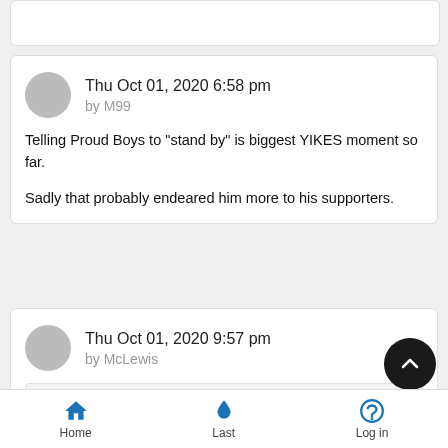Thu Oct 01, 2020 6:58 pm by M99
Telling Proud Boys to "stand by" is biggest YIKES moment so far.

Sadly that probably endeared him more to his supporters.
Thu Oct 01, 2020 9:57 pm by McLewis
Blue wrote: Nathan Robinson is supposed to be one of the intellect on
Home  Last  Log in